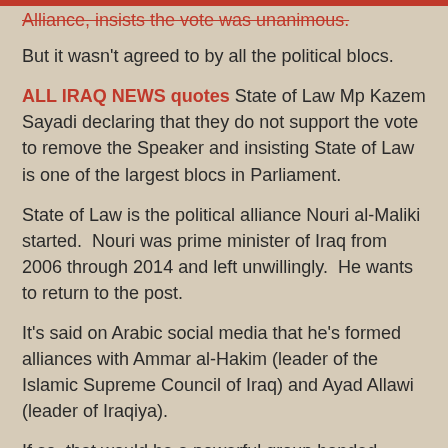Alliance, insists the vote was unanimous.
But it wasn't agreed to by all the political blocs.
ALL IRAQ NEWS quotes State of Law Mp Kazem Sayadi declaring that they do not support the vote to remove the Speaker and insisting State of Law is one of the largest blocs in Parliament.
State of Law is the political alliance Nouri al-Maliki started.  Nouri was prime minister of Iraq from 2006 through 2014 and left unwillingly.  He wants to return to the post.
It's said on Arabic social media that he's formed alliances with Ammar al-Hakim (leader of the Islamic Supreme Council of Iraq) and Ayad Allawi (leader of Iraqiya).
If so, that would be a powerful group banded together